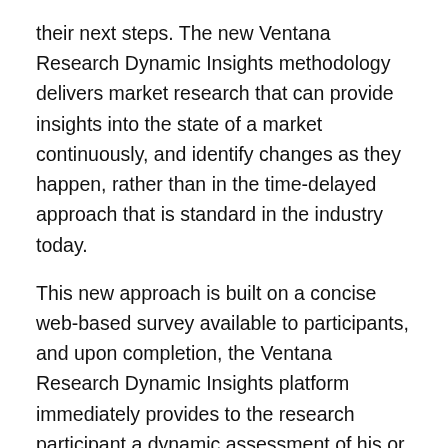their next steps. The new Ventana Research Dynamic Insights methodology delivers market research that can provide insights into the state of a market continuously, and identify changes as they happen, rather than in the time-delayed approach that is standard in the industry today.
This new approach is built on a concise web-based survey available to participants, and upon completion, the Ventana Research Dynamic Insights platform immediately provides to the research participant a dynamic assessment of his or her company's efforts as well as research- and experience-based advice on potential next steps to improve. For our clients, this will expand their opportunity to get trusted actionable research to support decisions ranging from prioritizing application and technology investments, to what